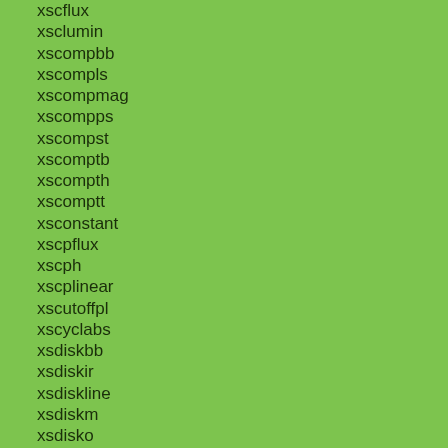xscflux
xsclumin
xscompbb
xscompls
xscompmag
xscompps
xscompst
xscomptb
xscompth
xscomptt
xsconstant
xscpflux
xscph
xscplinear
xscutoffpl
xscyclabs
xsdiskbb
xsdiskir
xsdiskline
xsdiskm
xsdisko
xsdiskpbb
xsdiskpn
xsdisk
xsdust
xsedge
xseplogpar
xseqpair
xseqtherm
xsequil
xsexpabs
xsexpdos